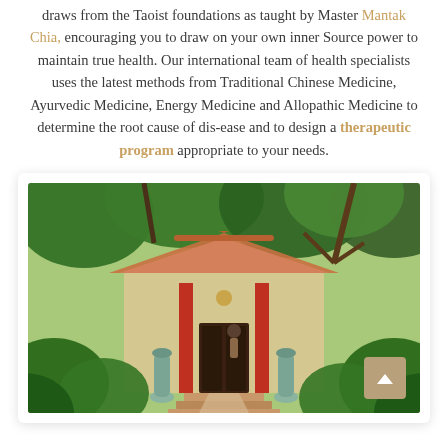draws from the Taoist foundations as taught by Master Mantak Chia, encouraging you to draw on your own inner Source power to maintain true health. Our international team of health specialists uses the latest methods from Traditional Chinese Medicine, Ayurvedic Medicine, Energy Medicine and Allopathic Medicine to determine the root cause of dis-ease and to design a therapeutic program appropriate to your needs.
[Figure (photo): Exterior entrance of a Thai-style wellness building surrounded by lush green trees and tropical plants. A pathway with steps and decorative vases leads to the entrance, which features red columns and a tiled roof. The scene is bathed in sunlight.]